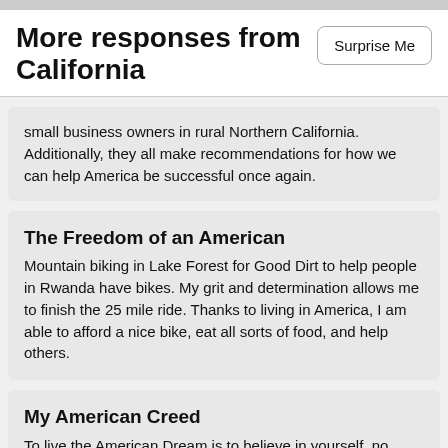More responses from California
small business owners in rural Northern California. Additionally, they all make recommendations for how we can help America be successful once again.
The Freedom of an American
Mountain biking in Lake Forest for Good Dirt to help people in Rwanda have bikes. My grit and determination allows me to finish the 25 mile ride. Thanks to living in America, I am able to afford a nice bike, eat all sorts of food, and help others.
My American Creed
To live the American Dream is to believe in yourself, no matter who you are, where you come from, or